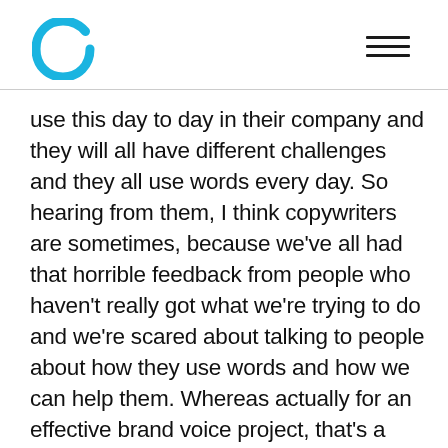use this day to day in their company and they will all have different challenges and they all use words every day. So hearing from them, I think copywriters are sometimes, because we've all had that horrible feedback from people who haven't really got what we're trying to do and we're scared about talking to people about how they use words and how we can help them. Whereas actually for an effective brand voice project, that's a really important part of the process.